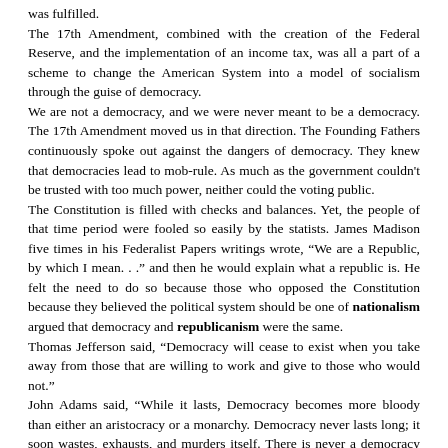was fulfilled.
The 17th Amendment, combined with the creation of the Federal Reserve, and the implementation of an income tax, was all a part of a scheme to change the American System into a model of socialism through the guise of democracy.
We are not a democracy, and we were never meant to be a democracy. The 17th Amendment moved us in that direction. The Founding Fathers continuously spoke out against the dangers of democracy. They knew that democracies lead to mob-rule. As much as the government couldn't be trusted with too much power, neither could the voting public.
The Constitution is filled with checks and balances. Yet, the people of that time period were fooled so easily by the statists. James Madison five times in his Federalist Papers writings wrote, “We are a Republic, by which I mean. . .” and then he would explain what a republic is. He felt the need to do so because those who opposed the Constitution because they believed the political system should be one of nationalism argued that democracy and republicanism were the same.
Thomas Jefferson said, “Democracy will cease to exist when you take away from those that are willing to work and give to those who would not.”
John Adams said, “While it lasts, Democracy becomes more bloody than either an aristocracy or a monarchy. Democracy never lasts long; it soon wastes, exhausts, and murders itself. There is never a democracy that did not commit suicide.”